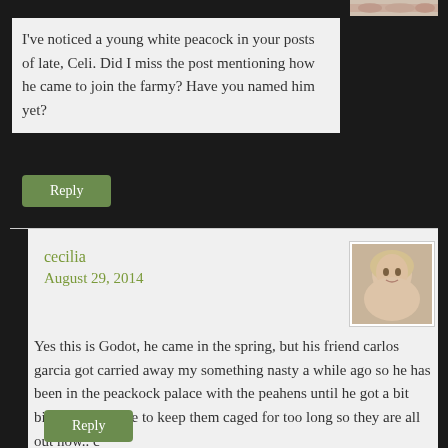[Figure (photo): Partial decorative image visible at top right corner]
I've noticed a young white peacock in your posts of late, Celi. Did I miss the post mentioning how he came to join the farmy? Have you named him yet?
Reply
cecilia
August 29, 2014
[Figure (photo): Avatar photo of cecilia - blonde woman smiling]
Yes this is Godot, he came in the spring, but his friend carlos garcia got carried away my something nasty a while ago so he has been in the peackock palace with the peahens until he got a bit bigger. But I hate to keep them caged for too long so they are all out now.. c
Reply